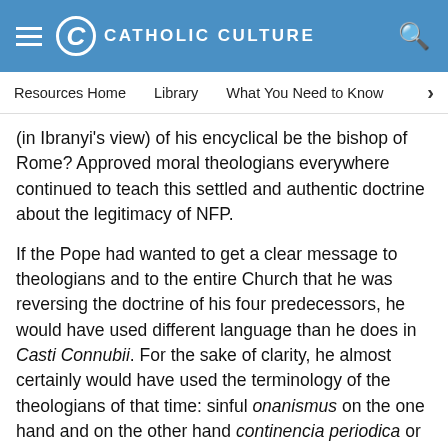CATHOLIC CULTURE
Resources Home   Library   What You Need to Know
(in Ibranyi's view) of his encyclical be the bishop of Rome? Approved moral theologians everywhere continued to teach this settled and authentic doctrine about the legitimacy of NFP.
If the Pope had wanted to get a clear message to theologians and to the entire Church that he was reversing the doctrine of his four predecessors, he would have used different language than he does in Casti Connubii. For the sake of clarity, he almost certainly would have used the terminology of the theologians of that time: sinful onanismus on the one hand and on the other hand continencia periodica or usus exclusivus temporum agenneseos to refer to what we now cal NFP. He would have stated unambiguously that the latter as well as the former was now to be